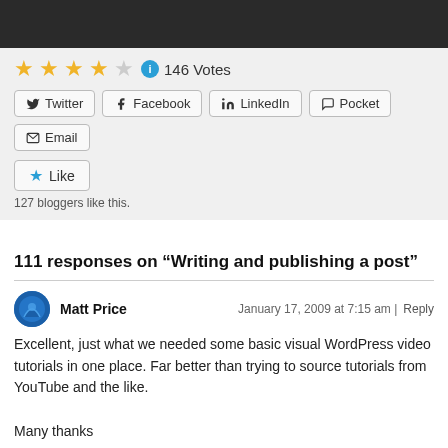[Figure (other): Dark header bar at top of page]
146 Votes (4 out of 5 stars rating)
Twitter | Facebook | LinkedIn | Pocket | Email (social share buttons)
Like — 127 bloggers like this.
111 responses on “Writing and publishing a post”
Matt Price — January 17, 2009 at 7:15 am | Reply
Excellent, just what we needed some basic visual WordPress video tutorials in one place. Far better than trying to source tutorials from YouTube and the like.

Many thanks
Liked by 1 person